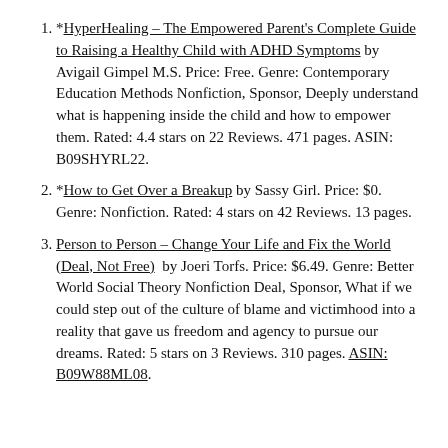*HyperHealing – The Empowered Parent's Complete Guide to Raising a Healthy Child with ADHD Symptoms by Avigail Gimpel M.S. Price: Free. Genre: Contemporary Education Methods Nonfiction, Sponsor, Deeply understand what is happening inside the child and how to empower them. Rated: 4.4 stars on 22 Reviews. 471 pages. ASIN: B09SHYRL22.
*How to Get Over a Breakup by Sassy Girl. Price: $0. Genre: Nonfiction. Rated: 4 stars on 42 Reviews. 13 pages.
Person to Person – Change Your Life and Fix the World (Deal, Not Free)  by Joeri Torfs. Price: $6.49. Genre: Better World Social Theory Nonfiction Deal, Sponsor, What if we could step out of the culture of blame and victimhood into a reality that gave us freedom and agency to pursue our dreams. Rated: 5 stars on 3 Reviews. 310 pages. ASIN: B09W88ML08.